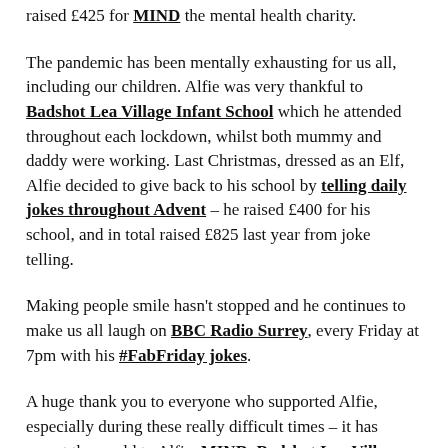raised £425 for MIND the mental health charity.
The pandemic has been mentally exhausting for us all, including our children. Alfie was very thankful to Badshot Lea Village Infant School which he attended throughout each lockdown, whilst both mummy and daddy were working. Last Christmas, dressed as an Elf, Alfie decided to give back to his school by telling daily jokes throughout Advent – he raised £400 for his school, and in total raised £825 last year from joke telling.
Making people smile hasn't stopped and he continues to make us all laugh on BBC Radio Surrey, every Friday at 7pm with his #FabFriday jokes.
A huge thank you to everyone who supported Alfie, especially during these really difficult times – it has meant the world to Alfie, MIND, Badshot Lea Village Infant